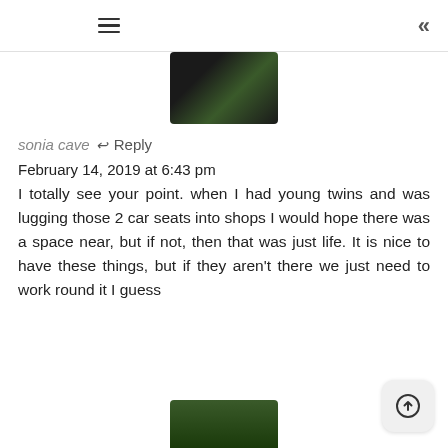≡  «
[Figure (photo): Partial photo of two people at the top of the page]
sonia cave ↩Reply
February 14, 2019 at 6:43 pm
I totally see your point. when I had young twins and was lugging those 2 car seats into shops I would hope there was a space near, but if not, then that was just life. It is nice to have these things, but if they aren't there we just need to work round it I guess
[Figure (photo): Partial photo of a person outdoors at the bottom of the page]